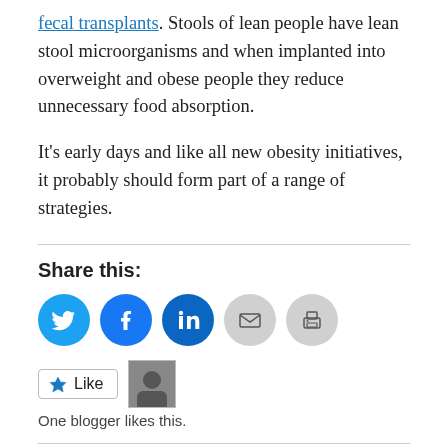fecal transplants. Stools of lean people have lean stool microorganisms and when implanted into overweight and obese people they reduce unnecessary food absorption.
It's early days and like all new obesity initiatives, it probably should form part of a range of strategies.
Share this:
[Figure (other): Social sharing buttons: Twitter (blue), Facebook (blue), LinkedIn (blue), Email (grey), Print (grey)]
[Figure (other): Like button with star icon and a blogger avatar thumbnail. Text: One blogger likes this.]
Related
As Long as Obesity is Big Business Even the Best Strategies